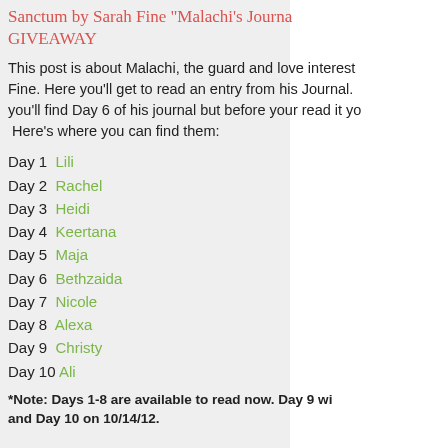Sanctum by Sarah Fine "Malachi's Journa... GIVEAWAY
This post is about Malachi, the guard and love interest... Fine. Here you'll get to read an entry from his Journal. you'll find Day 6 of his journal but before your read it yo... Here's where you can find them:
Day 1  Lili
Day 2  Rachel
Day 3  Heidi
Day 4  Keertana
Day 5  Maja
Day 6  Bethzaida
Day 7  Nicole
Day 8  Alexa
Day 9  Christy
Day 10  Ali
*Note: Days 1-8 are available to read now. Day 9 wi... Day 10 on 10/14/12.